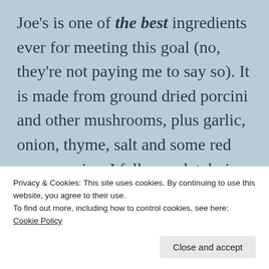Joe's is one of the best ingredients ever for meeting this goal (no, they're not paying me to say so). It is made from ground dried porcini and other mushrooms, plus garlic, onion, thyme, salt and some red pepper spice. I fell completely in love with this stuff last year at Thanksgiving, and I sometimes use
Privacy & Cookies: This site uses cookies. By continuing to use this website, you agree to their use.
To find out more, including how to control cookies, see here: Cookie Policy
Close and accept